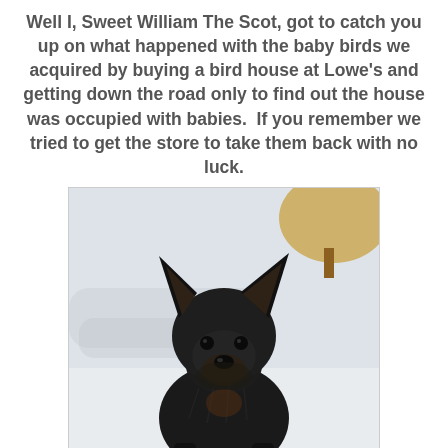Well I, Sweet William The Scot, got to catch you up on what happened with the baby birds we acquired by buying a bird house at Lowe's and getting down the road only to find out the house was occupied with babies.  If you remember we tried to get the store to take them back with no luck.
[Figure (photo): A black Scottish Terrier dog sitting and looking at the camera, with a snowy white background and a golden/autumn tree visible in the upper right corner.]